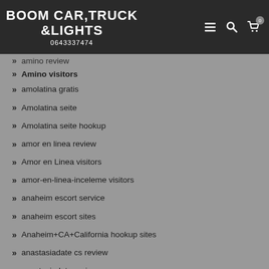BOOM CAR,TRUCK &LIGHTS
0643337474
amino review
Amino visitors
amolatina gratis
Amolatina seite
Amolatina seite hookup
amor en linea review
Amor en Linea visitors
amor-en-linea-inceleme visitors
anaheim escort service
anaheim escort sites
Anaheim+CA+California hookup sites
anastasiadate cs review
anastasiadate review